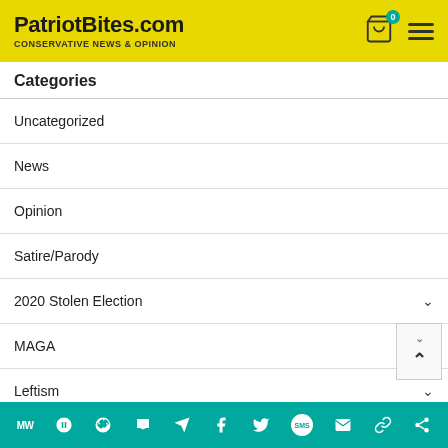PatriotBites.com — CONSERVATIVE NEWS & OPINION
Categories
Uncategorized
News
Opinion
Satire/Parody
2020 Stolen Election
MAGA
Leftism
Biden Regime
China CCP
Share toolbar with icons: MW, Goodreads, i, Parler, Telegram, Facebook, Twitter, SMS, Mail, Chain, Share